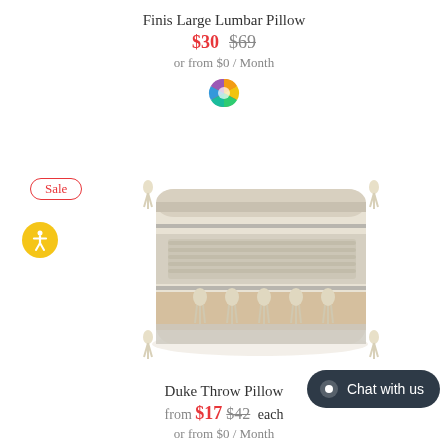Finis Large Lumbar Pillow
$30  $69
or from $0 / Month
[Figure (illustration): Color picker wheel icon]
Sale
[Figure (photo): Bohemian throw pillow with cream, grey, and tan stripes with decorative tassels on all four corners]
Duke Throw Pillow
from $17  $42 each
or from $0 / Month
Chat with us